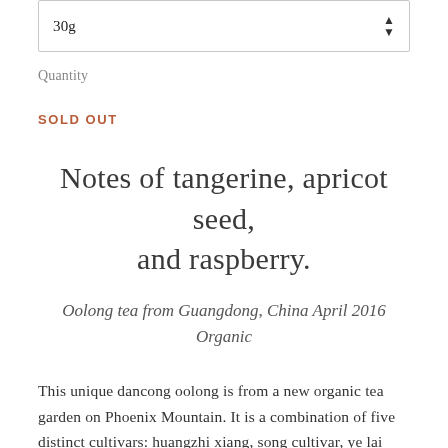30g
Quantity
SOLD OUT
Notes of tangerine, apricot seed, and raspberry.
Oolong tea from Guangdong, China April 2016 Organic
This unique dancong oolong is from a new organic tea garden on Phoenix Mountain. It is a combination of five distinct cultivars: huangzhi xiang, song cultivar, ye lai